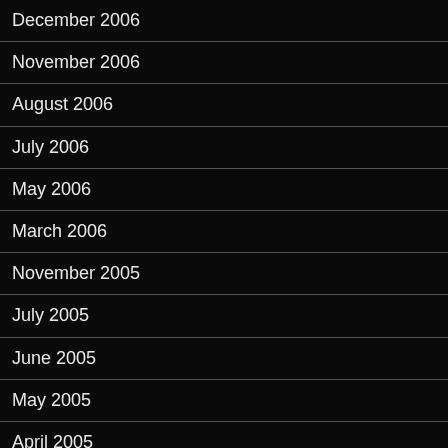December 2006
November 2006
August 2006
July 2006
May 2006
March 2006
November 2005
July 2005
June 2005
May 2005
April 2005
March 2005
February 2005